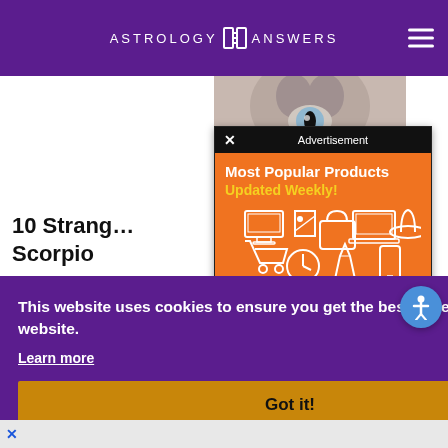ASTROLOGY ANSWERS
[Figure (screenshot): Partial cat face/eye image in upper center-right]
[Figure (screenshot): Advertisement overlay with orange background showing 'Most Popular Products Updated Weekly!' with shopping icons]
10 Strange … ut Scorpio
…bout … n of
This website uses cookies to ensure you get the best experience on our website.
Learn more
Got it!
[Figure (screenshot): Bottom advertisement bar with X close button]